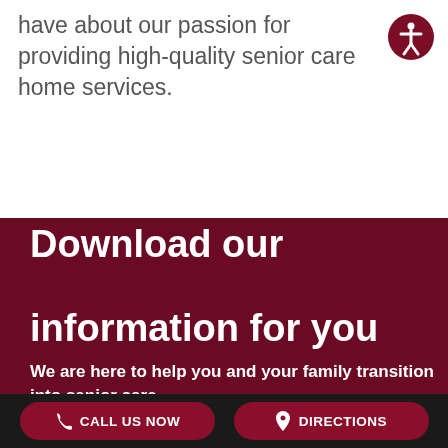have about our passion for providing high-quality senior care home services.
Download our information for you or a loved one!
We are here to help you and your family transition into senior care.
CALL US NOW
DIRECTIONS